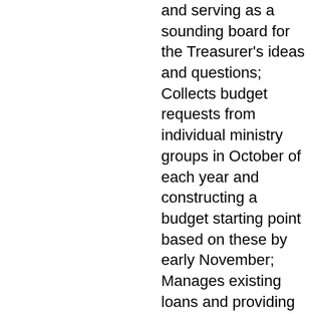and serving as a sounding board for the Treasurer's ideas and questions;
Collects budget requests from individual ministry groups in October of each year and constructing a budget starting point based on these by early November;
Manages existing loans and providing guidance on future loans, including negotiating term lengths, interest rates, and refinancing;
Manages opportunities pertaining to utility costs, with input from the Parish Administrator and the Building and Grounds Committee
Conducts the Parish's annual financial audit including check writing and bill paying;
Maintains a master list of future capital projects, with input from the Building and Grounds Committee